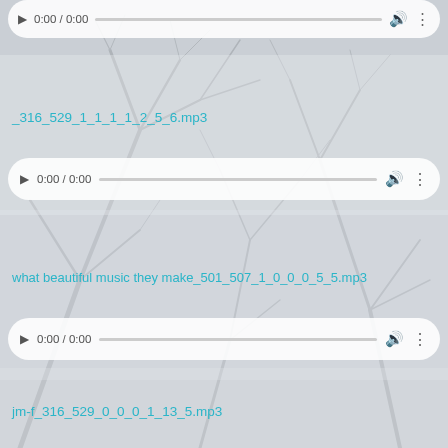[Figure (screenshot): Screenshot of a webpage showing three audio file entries with HTML5 audio player controls, displayed over a winter bare-branch tree background. Each entry shows a filename link in teal/cyan color and an audio player bar with play button, time display, progress bar, volume icon, and more options icon.]
_316_529_1_1_1_1_2_5_6.mp3
what beautiful music they make_501_507_1_0_0_0_5_5.mp3
jm-f_316_529_0_0_0_1_13_5.mp3